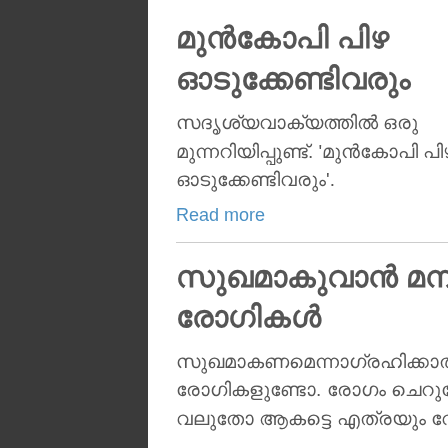മുൻകോപി പിഴ ഓടുക്കേണ്ടിവരും
സദൃശ്യവാക്യത്തിൽ ഒരു മുന്നറിയിപ്പുണ്ട്. 'മുൻകോപി പിഴ ഓടുക്കേണ്ടിവരും'.
Read more
സുഖമാകുവാൻ മനസ്സില്ലാത്ത രോഗികൾ
സുഖമാകണമെന്നാഗ്രഹിക്കാത്ത രോഗികളുണ്ടോ. രോഗം ചെറുതോ വലുതോ ആകട്ടെ എത്രയും വേഗം